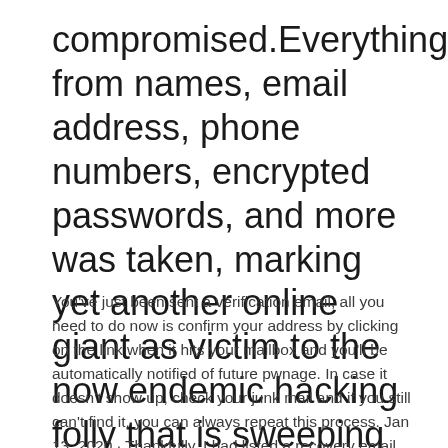compromised.Everything from names, email address, phone numbers, encrypted passwords, and more was taken, marking yet another online giant as victim to the now endemic hacking folly that is sweeping the globe.
You've just been sent a verification email, all you need to do now is confirm your address by clicking on the link when it hits your mailbox and you'll be automatically notified of future pwnage. In case it doesn't show up, check your junk mail and if you still can't find it, you can always repeat this process. Jan 13, 2020 · Thankfully, I had listed a recovery email and verified my phone with Google, so after about 5-10 minutes of resetting